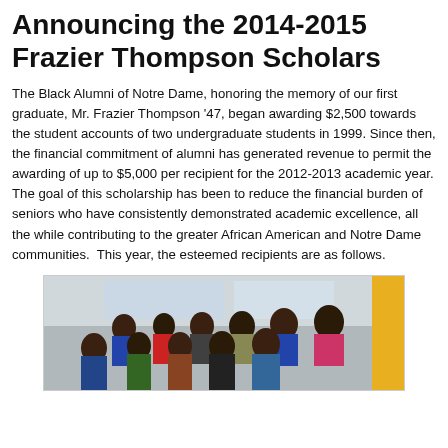Announcing the 2014-2015 Frazier Thompson Scholars
The Black Alumni of Notre Dame, honoring the memory of our first graduate, Mr. Frazier Thompson '47, began awarding $2,500 towards the student accounts of two undergraduate students in 1999. Since then, the financial commitment of alumni has generated revenue to permit the awarding of up to $5,000 per recipient for the 2012-2013 academic year. The goal of this scholarship has been to reduce the financial burden of seniors who have consistently demonstrated academic excellence, all the while contributing to the greater African American and Notre Dame communities.  This year, the esteemed recipients are as follows.
[Figure (photo): Group photo of Black Alumni of Notre Dame scholars and community members, approximately 12-15 people posed together indoors.]